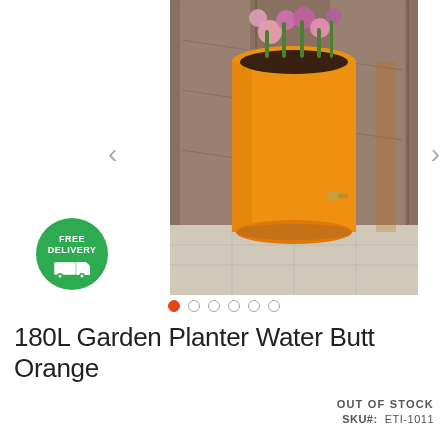[Figure (photo): An orange cylindrical garden planter water butt with pink and purple flowers growing from the top, placed outdoors on a tiled patio next to a wooden fence. A small brass tap is visible near the bottom. A green 'Free Delivery' badge with a truck icon overlays the bottom-left. Navigation arrows (< >) appear on either side of the image.]
180L Garden Planter Water Butt Orange
OUT OF STOCK
SKU#:  ETI-1011